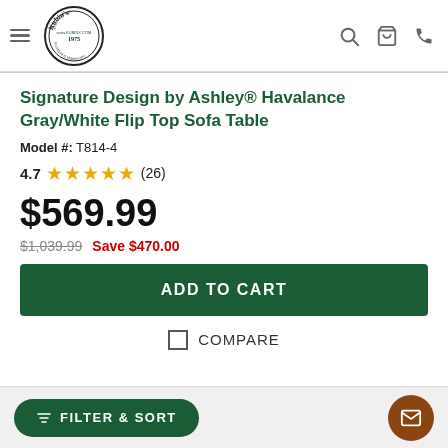Kubin's — website header with logo, search, cart, phone icons
Signature Design by Ashley® Havalance Gray/White Flip Top Sofa Table
Model #: T814-4
4.7 ★★★★★ (26)
$569.99
$1,039.99  Save $470.00
ADD TO CART
COMPARE
FILTER & SORT